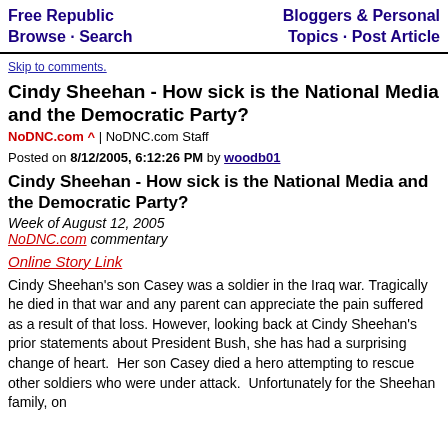Free Republic Browse · Search | Bloggers & Personal Topics · Post Article
Skip to comments.
Cindy Sheehan - How sick is the National Media and the Democratic Party?
NoDNC.com ^ | NoDNC.com Staff
Posted on 8/12/2005, 6:12:26 PM by woodb01
Cindy Sheehan - How sick is the National Media and the Democratic Party?
Week of August 12, 2005
NoDNC.com commentary
Online Story Link
Cindy Sheehan's son Casey was a soldier in the Iraq war. Tragically he died in that war and any parent can appreciate the pain suffered as a result of that loss. However, looking back at Cindy Sheehan's prior statements about President Bush, she has had a surprising change of heart.  Her son Casey died a hero attempting to rescue other soldiers who were under attack.  Unfortunately for the Sheehan family, on